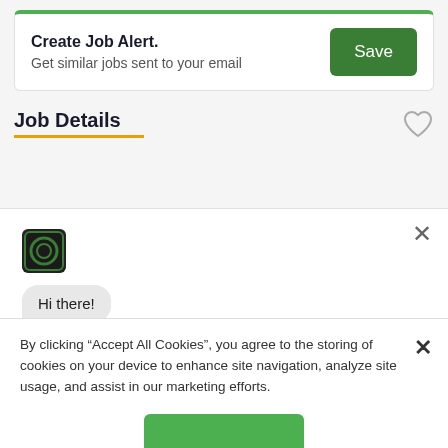Create Job Alert. Get similar jobs sent to your email
Save
Job Details
[Figure (screenshot): Chat widget with green circle logo, message 'Hi there!' and 'Is this job a good match for you?']
By clicking “Accept All Cookies”, you agree to the storing of cookies on your device to enhance site navigation, analyze site usage, and assist in our marketing efforts.